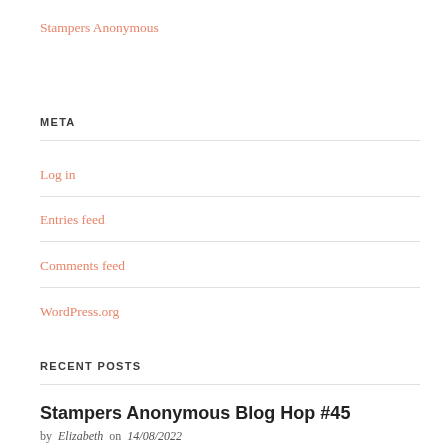Stampers Anonymous
META
Log in
Entries feed
Comments feed
WordPress.org
RECENT POSTS
Stampers Anonymous Blog Hop #45
by  Elizabeth   on  14/08/2022